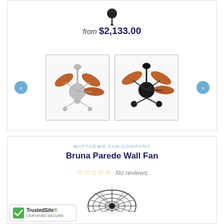from $2,133.00
[Figure (photo): Two ceiling fan product thumbnail images side by side with navigation arrows - left shows silver/chrome fan with orange blades, right shows black fan with orange blades]
MATTHEWS FAN COMPANY
Bruna Parede Wall Fan
No reviews (star rating display, 0 stars)
[Figure (photo): Partial view of a black wire cage wall fan at the bottom of the page]
[Figure (logo): TrustedSite CERTIFIED SECURE badge with green checkmark]